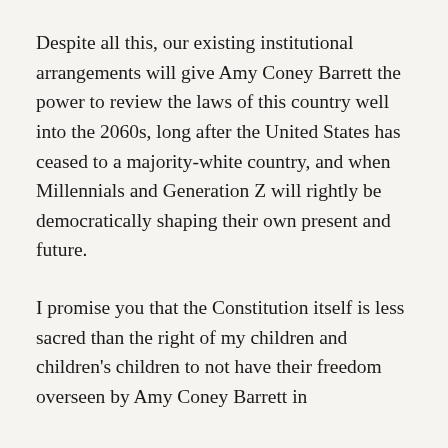Despite all this, our existing institutional arrangements will give Amy Coney Barrett the power to review the laws of this country well into the 2060s, long after the United States has ceased to a majority-white country, and when Millennials and Generation Z will rightly be democratically shaping their own present and future.
I promise you that the Constitution itself is less sacred than the right of my children and children's children to not have their freedom overseen by Amy Coney Barrett in